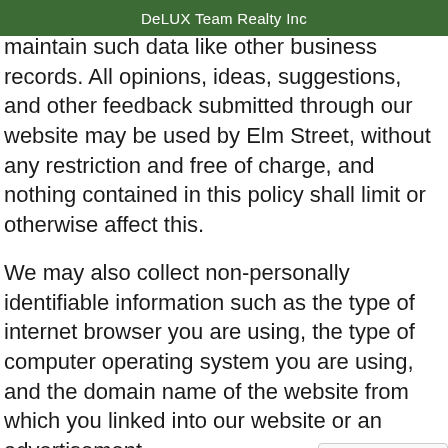DeLUX Team Realty Inc
maintain such data like other business records. All opinions, ideas, suggestions, and other feedback submitted through our website may be used by Elm Street, without any restriction and free of charge, and nothing contained in this policy shall limit or otherwise affect this.
We may also collect non-personally identifiable information such as the type of internet browser you are using, the type of computer operating system you are using, and the domain name of the website from which you linked into our website or an advertisement.
Please note that Elm Street will fully cooper...